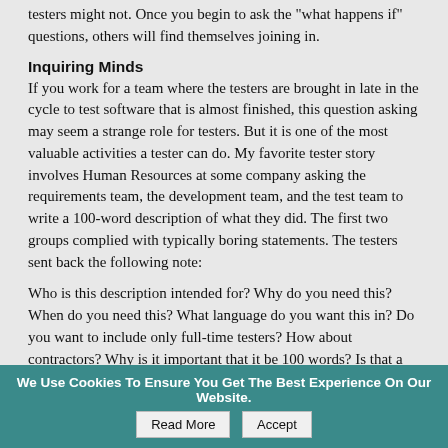testers might not. Once you begin to ask the "what happens if" questions, others will find themselves joining in.
Inquiring Minds
If you work for a team where the testers are brought in late in the cycle to test software that is almost finished, this question asking may seem a strange role for testers. But it is one of the most valuable activities a tester can do. My favorite tester story involves Human Resources at some company asking the requirements team, the development team, and the test team to write a 100-word description of what they did. The first two groups complied with typically boring statements. The testers sent back the following note:
Who is this description intended for? Why do you need this? When do you need this? What language do you want this in? Do you want to include only full-time testers? How about contractors? Why is it important that it be 100 words? Is that a lower limit or an upper limit? How do you want to count the words? Do hyphenated words count as one word or two? What format should this be in?
What a great reply! Rather than merely describe what testers do; it showed testers in action!
How Much Is Enough?
You may argue that some of these questions are too picky and lawyerly. And
We Use Cookies To Ensure You Get The Best Experience On Our Website.